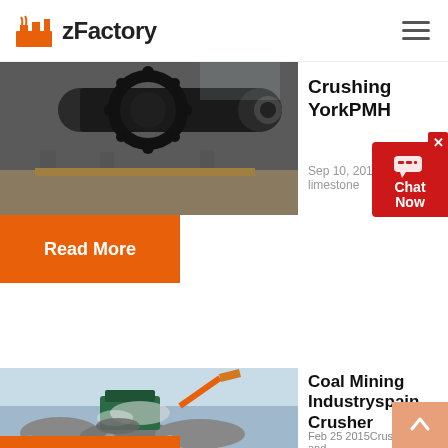zFactory
[Figure (photo): Industrial ball mill machinery with large gears, photographed in a warehouse setting]
Crushing YorkPMH
Sep 10, 2019  Coal, limestone
Read More
[Figure (photo): Coal crushing machinery in operation outdoors, with rocks and dust, excavator arm visible in background]
Coal Mining Industryspain Crusher
Feb 25 2015Crushing of coal and...